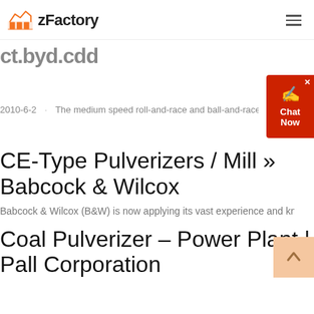zFactory
ct.byd.cdd
2010-6-2 · The medium speed roll-and-race and ball-and-race pulve...
CE-Type Pulverizers / Mill » Babcock & Wilcox
Babcock & Wilcox (B&W) is now applying its vast experience and knowle...
Coal Pulverizer – Power Plant | Pall Corporation